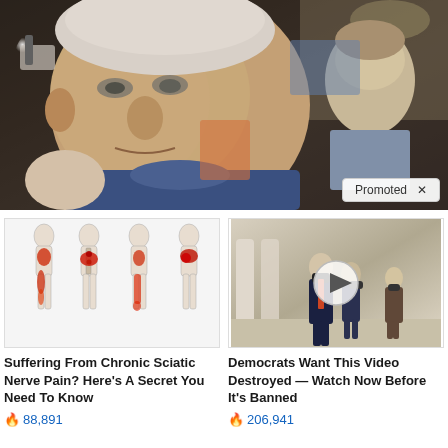[Figure (photo): Close-up photograph of Joe Biden at a public event, with a younger man visible in the background. Crowd and event venue visible behind them.]
Promoted X
[Figure (illustration): Medical illustration showing four body silhouettes with red areas highlighting sciatic nerve pain locations along the lower back, buttocks, and legs.]
Suffering From Chronic Sciatic Nerve Pain? Here's A Secret You Need To Know
🔥 88,891
[Figure (screenshot): Video thumbnail showing Joe Biden and others walking, with a circular play button overlay.]
Democrats Want This Video Destroyed — Watch Now Before It's Banned
🔥 206,941